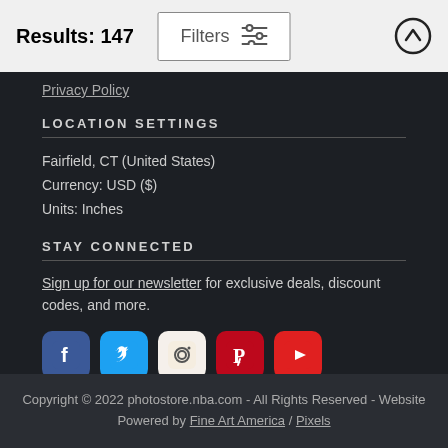Results: 147
Privacy Policy
LOCATION SETTINGS
Fairfield, CT (United States)
Currency: USD ($)
Units: Inches
STAY CONNECTED
Sign up for our newsletter for exclusive deals, discount codes, and more.
[Figure (illustration): Social media icons: Facebook, Twitter, Instagram, Pinterest, YouTube]
Copyright © 2022 photostore.nba.com - All Rights Reserved - Website Powered by Fine Art America / Pixels